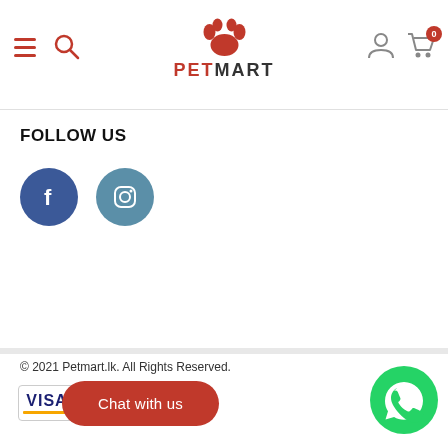[Figure (logo): PetMart logo with red paw print above the text PETMART, navigation icons (hamburger menu, search, user account, cart with badge 0)]
FOLLOW US
[Figure (other): Social media icons: Facebook (blue circle with f) and Instagram (blue-grey circle with camera icon)]
© 2021 Petmart.lk. All Rights Reserved.
[Figure (other): Payment method icons: VISA and Mastercard logos]
Chat with us
[Figure (other): WhatsApp green circular button with phone icon]